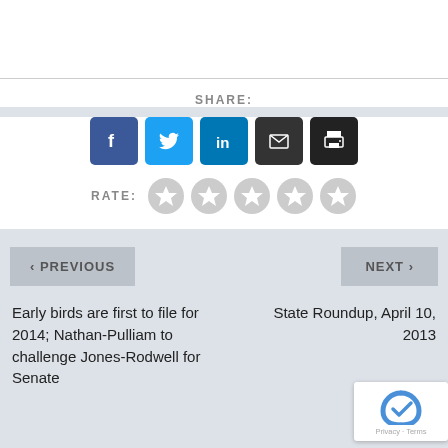SHARE:
[Figure (infographic): Social share icons: Facebook (blue), Twitter (light blue), LinkedIn (blue), Email (dark), Print (dark)]
RATE: ☆☆☆☆☆
< PREVIOUS
NEXT >
Early birds are first to file for 2014; Nathan-Pulliam to challenge Jones-Rodwell for Senate
State Roundup, April 10, 2013